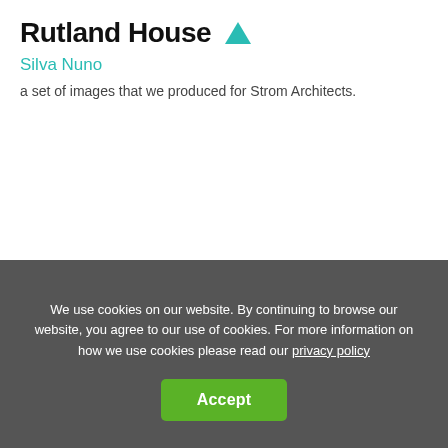Rutland House
Silva Nuno
a set of images that we produced for Strom Architects.
We use cookies on our website. By continuing to browse our website, you agree to our use of cookies. For more information on how we use cookies please read our privacy policy
Accept